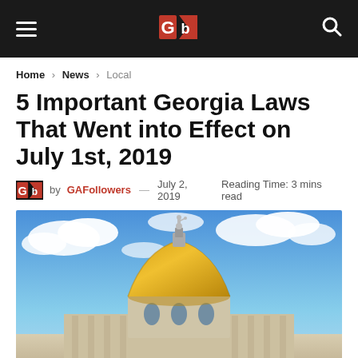GAFollowers navigation bar with logo
Home > News > Local
5 Important Georgia Laws That Went into Effect on July 1st, 2019
by GAFollowers — July 2, 2019  Reading Time: 3 mins read
[Figure (photo): Georgia State Capitol building dome with gold dome against blue sky with white clouds]